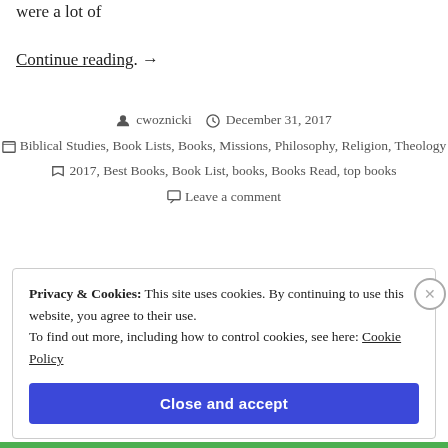were a lot of
Continue reading. →
cwoznicki  December 31, 2017
Biblical Studies, Book Lists, Books, Missions, Philosophy, Religion, Theology
2017, Best Books, Book List, books, Books Read, top books
Leave a comment
Privacy & Cookies: This site uses cookies. By continuing to use this website, you agree to their use. To find out more, including how to control cookies, see here: Cookie Policy
Close and accept